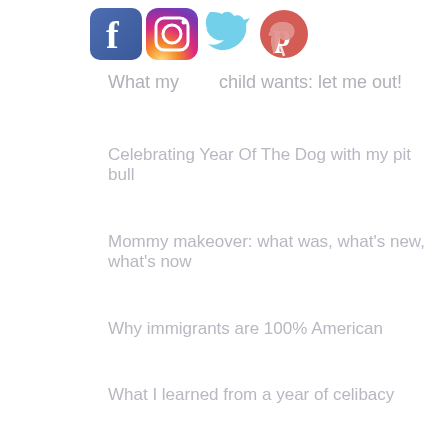[Figure (other): Social media icons: Facebook, Instagram, Twitter, Pinterest]
What my child wants: let me out!
Celebrating Year Of The Dog with my pit bull
Mommy makeover: what was, what's new, what's now
Why immigrants are 100% American
What I learned from a year of celibacy
A movie date with myself can actually be fun
R.I.P. to The Village Voice, print edition
How to drive from NY to LA in 5 days